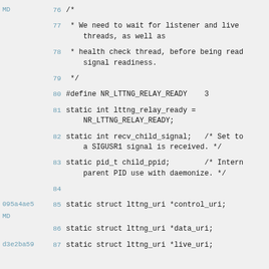[Figure (screenshot): Code viewer showing C source code lines 76-87 with commit annotations MD, 095a4ae5, and d3e2ba59 on the left, line numbers in blue, and code content in monospace font on a light gray background.]